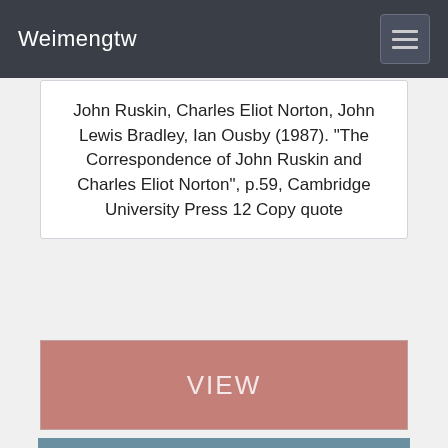Weimengtw
John Ruskin, Charles Eliot Norton, John Lewis Bradley, Ian Ousby (1987). “The Correspondence of John Ruskin and Charles Eliot Norton”, p.59, Cambridge University Press 12 Copy quote
VIEW
TOP 25 QUOTES BY NIKOLA TESLA (of 187) | A-Z Quotes
Alpha waves in the human brain are between 6 and 8 hertz. The wave frequency of the human cavity resonates between 6 and 8